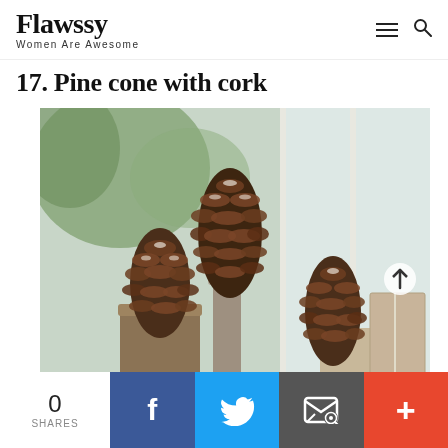Flawssy — Women Are Awesome
17. Pine cone with cork
[Figure (photo): Three pine cones mounted on cork/wood pedestals arranged near a window with greenery visible outside. A wrapped gift is partially visible on the right side.]
0 SHARES
f (Facebook share button)
🐦 (Twitter share button)
✉ (Email share button)
+ (More share button)